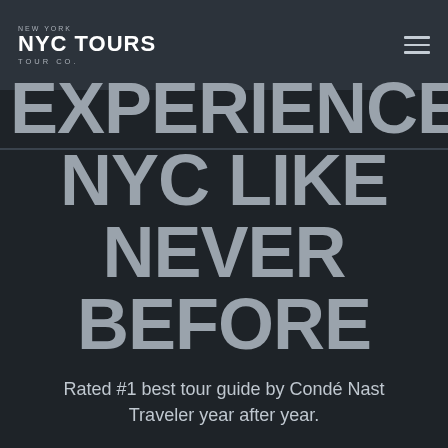NEW YORK NYC TOURS TOUR CO.
[Figure (logo): NYC Tours Tour Co. logo with expanded navigation header showing 'NYC TOURS' text underlined and 'TOUR CO.' subtitle, with hamburger/dash menu icon on right]
EXPERIENCE NYC LIKE NEVER BEFORE
Rated #1 best tour guide by Condé Nast Traveler year after year.